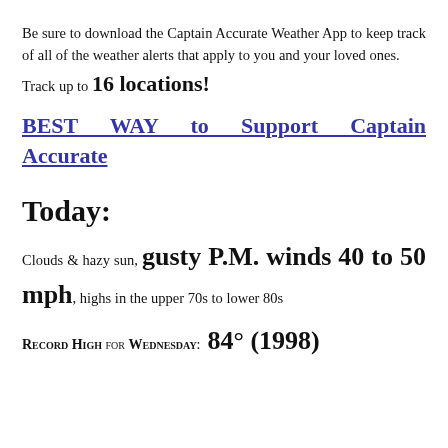Be sure to download the Captain Accurate Weather App to keep track of all of the weather alerts that apply to you and your loved ones.
Track up to 16 locations!
BEST WAY to Support Captain Accurate
Today:
Clouds & hazy sun, gusty P.M. winds 40 to 50 mph, highs in the upper 70s to lower 80s
RECORD HIGH for WEDNESDAY: 84° (1998)